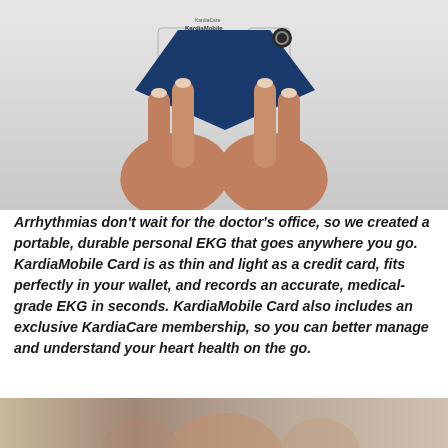[Figure (photo): Two hands holding a KardiaMobile Card device (a credit-card-sized personal EKG device with a blue triangular design) against a light gray background.]
Arrhythmias don't wait for the doctor's office, so we created a portable, durable personal EKG that goes anywhere you go. KardiaMobile Card is as thin and light as a credit card, fits perfectly in your wallet, and records an accurate, medical-grade EKG in seconds. KardiaMobile Card also includes an exclusive KardiaCare membership, so you can better manage and understand your heart health on the go.
[Figure (photo): Partial view of another photo at the bottom of the page, partially cropped.]